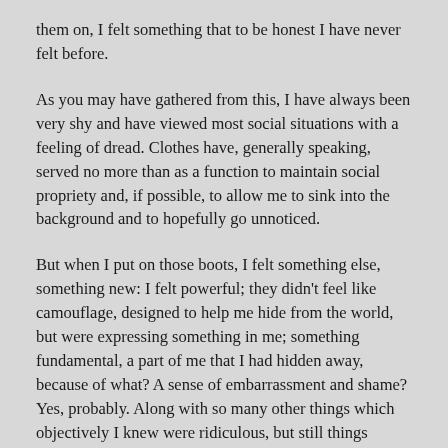them on, I felt something that to be honest I have never felt before.
As you may have gathered from this, I have always been very shy and have viewed most social situations with a feeling of dread. Clothes have, generally speaking, served no more than as a function to maintain social propriety and, if possible, to allow me to sink into the background and to hopefully go unnoticed.
But when I put on those boots, I felt something else, something new: I felt powerful; they didn't feel like camouflage, designed to help me hide from the world, but were expressing something in me; something fundamental, a part of me that I had hidden away, because of what? A sense of embarrassment and shame? Yes, probably. Along with so many other things which objectively I knew were ridiculous, but still things which